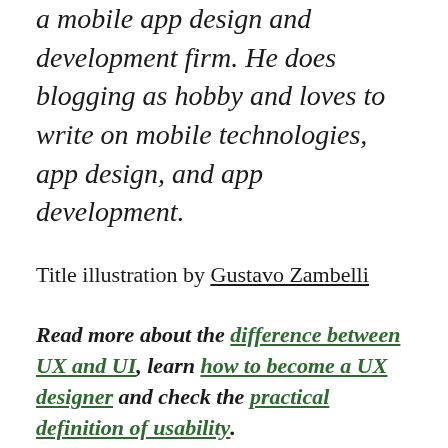a mobile app design and development firm. He does blogging as hobby and loves to write on mobile technologies, app design, and app development.
Title illustration by Gustavo Zambelli
Read more about the difference between UX and UI, learn how to become a UX designer and check the practical definition of usability.